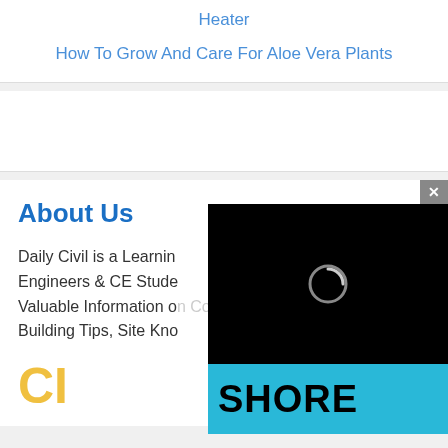Heater
How To Grow And Care For Aloe Vera Plants
About Us
Daily Civil is a Learning Platform for Civil Engineers & CE Students. We Provide Valuable Information on Construction Building Tips, Site Kno...
[Figure (screenshot): Black video player overlay with a circular loading/play icon in the center]
[Figure (logo): SHORE brand banner in cyan/teal blue with bold black text reading SHORE]